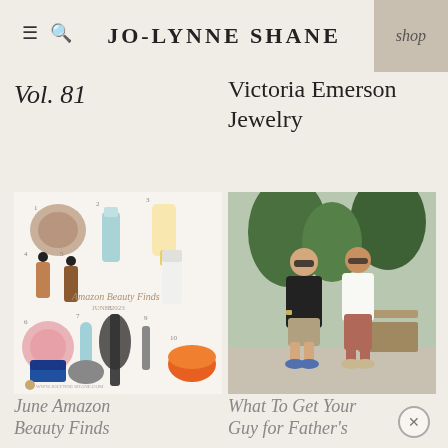JO-LYNNE SHANE
Vol. 81
Victoria Emerson Jewelry
[Figure (photo): Collage of Amazon Beauty Finds products including makeup, skincare, and hair tools labeled June 2023]
[Figure (photo): Couple standing outdoors on a paved area near trees; man in black shirt and khaki shorts, woman in white sleeveless top and dusty rose joggers]
June Amazon Beauty Finds
What To Get Your Guy for Father's